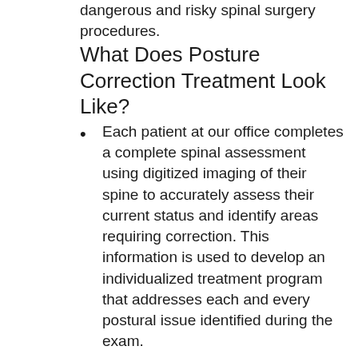dangerous and risky spinal surgery procedures.
What Does Posture Correction Treatment Look Like?
Each patient at our office completes a complete spinal assessment using digitized imaging of their spine to accurately assess their current status and identify areas requiring correction. This information is used to develop an individualized treatment program that addresses each and every postural issue identified during the exam.
Patients are trained on strengthing and corrective exercises which will provide them with the necessary treatment tools for a long-term maintenance program they can do by themselves.
When needed, our staff is trained on providing